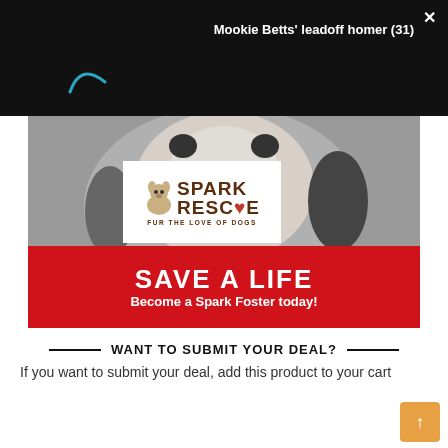Mookie Betts' leadoff homer (31)
[Figure (photo): Close-up photo of a Boston Terrier dog's face looking upward, with Spark Rescue logo overlay and red banner reading SAVE A LIFE / Become a Spark Foster today!]
WANT TO SUBMIT YOUR DEAL?
If you want to submit your deal, add this product to your cart